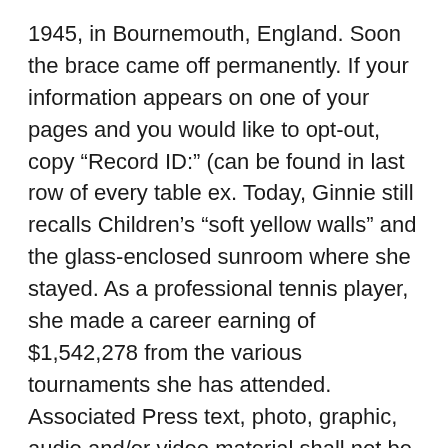1945, in Bournemouth, England. Soon the brace came off permanently. If your information appears on one of your pages and you would like to opt-out, copy "Record ID:" (can be found in last row of every table ex. Today, Ginnie still recalls Children's "soft yellow walls" and the glass-enclosed sunroom where she stayed. As a professional tennis player, she made a career earning of $1,542,278 from the various tournaments she has attended. Associated Press text, photo, graphic, audio and/or video material shall not be published, broadcast, rewritten for broadcast or publication or redistributed directly or indirectly in any medium. We have found public records related to Virginia Wade. 2 in the world in singles, and No. Sarah Virginia Wade, OBE (born 10 July 1945) is a former professional tennis player from Great Britain. Disclaimer: By using this site, you certify that you will use any information obtained for lawfully acceptable purposes